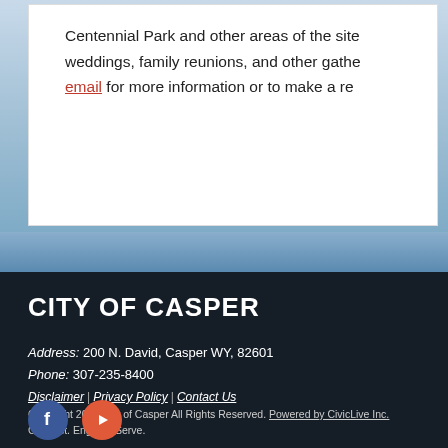Centennial Park and other areas of the site weddings, family reunions, and other gatherings. email for more information or to make a reservation.
CITY OF CASPER
Address: 200 N. David, Casper WY, 82601
Phone: 307-235-8400
Disclaimer | Privacy Policy | Contact Us
Copyright 2014 City of Casper All Rights Reserved. Powered by CivicLive Inc.
Connect. Engage. Serve.
[Figure (illustration): Facebook and YouTube social media icon circles]